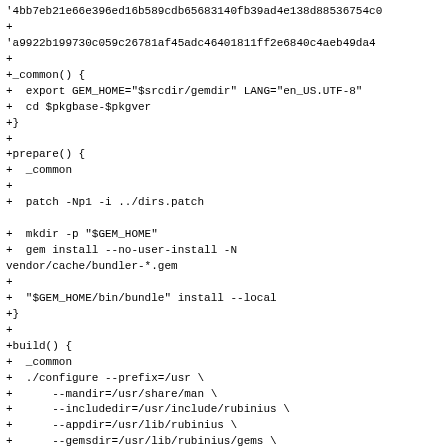'4bb7eb21e66e396ed16b589cdb65683140fb39ad4e138d88536754c0
+
'a9922b199730c059c26781af45adc46401811ff2e6840c4aeb49da4
+
+_common() {
+  export GEM_HOME="$srcdir/gemdir" LANG="en_US.UTF-8"
+  cd $pkgbase-$pkgver
+}
+
+prepare() {
+  _common
+
+  patch -Np1 -i ../dirs.patch
+
+  mkdir -p "$GEM_HOME"
+  gem install --no-user-install -N
vendor/cache/bundler-*.gem
+
+  "$GEM_HOME/bin/bundle" install --local
+}
+
+build() {
+  _common
+  ./configure --prefix=/usr \
+      --mandir=/usr/share/man \
+      --includedir=/usr/include/rubinius \
+      --appdir=/usr/lib/rubinius \
+      --gemsdir=/usr/lib/rubinius/gems \
+      --llvm-shared \
+      --preserve-prefix \